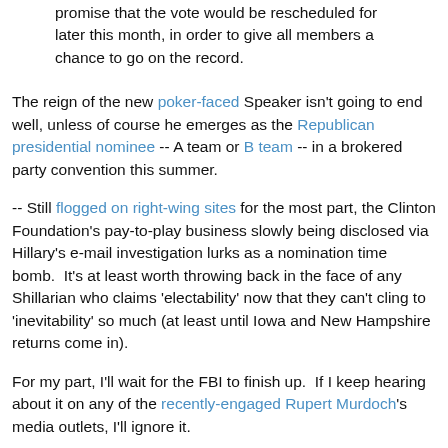promise that the vote would be rescheduled for later this month, in order to give all members a chance to go on the record.
The reign of the new poker-faced Speaker isn't going to end well, unless of course he emerges as the Republican presidential nominee -- A team or B team -- in a brokered party convention this summer.
-- Still flogged on right-wing sites for the most part, the Clinton Foundation's pay-to-play business slowly being disclosed via Hillary's e-mail investigation lurks as a nomination time bomb.  It's at least worth throwing back in the face of any Shillarian who claims 'electability' now that they can't cling to 'inevitability' so much (at least until Iowa and New Hampshire returns come in).
For my part, I'll wait for the FBI to finish up.  If I keep hearing about it on any of the recently-engaged Rupert Murdoch's media outlets, I'll ignore it.
In other doings following up on MyBlog...